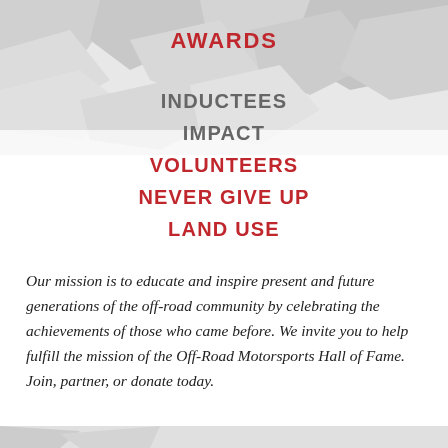[Figure (photo): Background header image showing off-road vehicles or motorsports scene in grayscale/light gray tones]
AWARDS
INDUCTEES
IMPACT
VOLUNTEERS
NEVER GIVE UP
LAND USE
Our mission is to educate and inspire present and future generations of the off-road community by celebrating the achievements of those who came before. We invite you to help fulfill the mission of the Off-Road Motorsports Hall of Fame. Join, partner, or donate today.